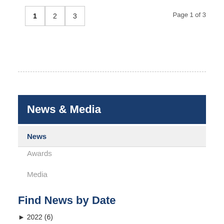1  2  3    Page 1 of 3
News & Media
News
Awards
Media
Find News by Date
► 2022 (6)